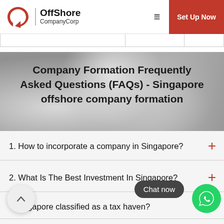OffShore CompanyCorp | Set Up Now
Company Formation Frequently Asked Questions (FAQs) - Singapore offshore company formation
1. How to incorporate a company in Singapore?
2. What Is The Best Investment In Singapore?
3. Is Singapore classified as a tax haven?
4. What are the requirements for a director in...